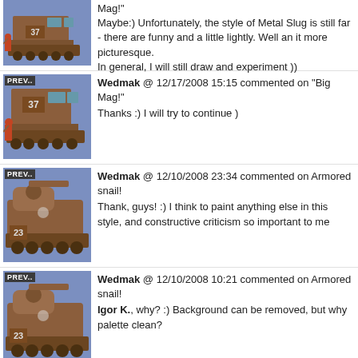Mag!"
Maybe:) Unfortunately, the style of Metal Slug is still far - there are funny and a little lightly. Well and it more picturesque.
In general, I will still draw and experiment ))
[Figure (screenshot): Pixel art preview image of a tank with a soldier, labeled PREV., blue background]
Wedmak @ 12/17/2008 15:15 commented on "Big Mag!"
Thanks :) I will try to continue )
[Figure (screenshot): Pixel art preview image of a tank with a soldier, labeled PREV., blue background]
Wedmak @ 12/10/2008 23:34 commented on Armored snail!
Thank, guys! :) I think to paint anything else in this style, and constructive criticism so important to me
[Figure (screenshot): Pixel art preview image of an armored snail tank, labeled PREV., blue background]
Wedmak @ 12/10/2008 10:21 commented on Armored snail!
Igor K., why? :) Background can be removed, but why palette clean?
[Figure (screenshot): Pixel art preview image of an armored snail tank, labeled PREV., blue background]